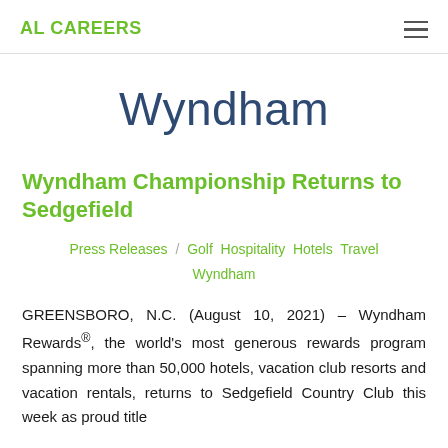AL CAREERS
Wyndham
Wyndham Championship Returns to Sedgefield
Press Releases / Golf Hospitality Hotels Travel Wyndham
GREENSBORO, N.C. (August 10, 2021) – Wyndham Rewards®, the world's most generous rewards program spanning more than 50,000 hotels, vacation club resorts and vacation rentals, returns to Sedgefield Country Club this week as proud title